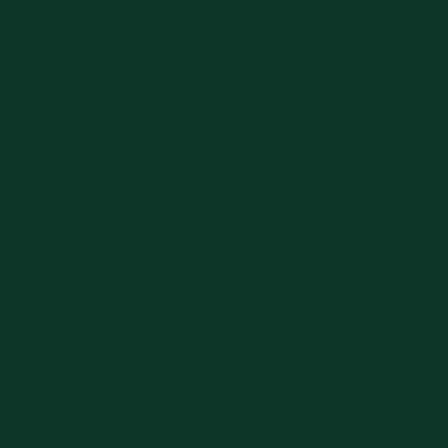| Code | Description |
| --- | --- |
| GSU457 | AR L |
| GSU458 | AR L |
| GSU459 | AR L |
| GSU460 | AR |
| GSU461 | AR L |
| GSU500 | MOSW |
| GSU520 | RIM |
| GSU521 | M |
| GSU522 | AR A |
| GSU524 | AR |
| GSU525 | AR |
| GSU550 | AR A |
| GSU560 | AR |
| GSU580 | AR |
| GSV1005 | AR A |